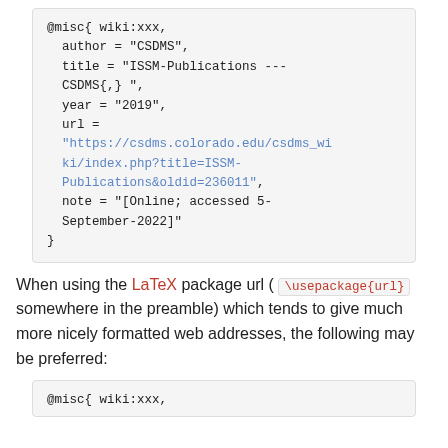@misc{ wiki:xxx,
  author = "CSDMS",
  title = "ISSM-Publications --- CSDMS{,} ",
  year = "2019",
  url = "https://csdms.colorado.edu/csdms_wiki/index.php?title=ISSM-Publications&oldid=236011",
  note = "[Online; accessed 5-September-2022]"
}
When using the LaTeX package url ( \usepackage{url} somewhere in the preamble) which tends to give much more nicely formatted web addresses, the following may be preferred:
@misc{ wiki:xxx,